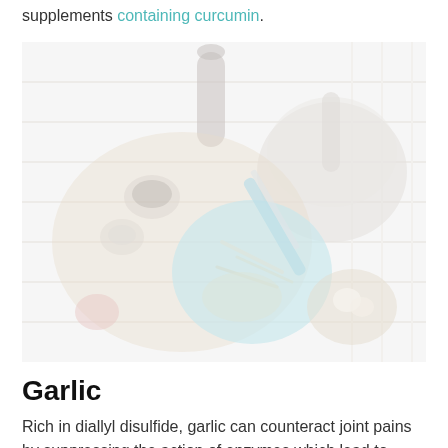supplements containing curcumin.
[Figure (photo): Overhead flat-lay photo of herbs and spices on a white wooden surface, including a mortar and pestle, a blue knife, small dishes with spices and garlic, and a cutting board.]
Garlic
Rich in diallyl disulfide, garlic can counteract joint pains by suppressing the action of enzymes which lead to cartilage...